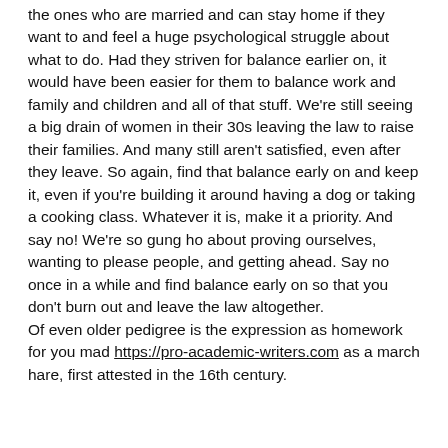the ones who are married and can stay home if they want to and feel a huge psychological struggle about what to do. Had they striven for balance earlier on, it would have been easier for them to balance work and family and children and all of that stuff. We're still seeing a big drain of women in their 30s leaving the law to raise their families. And many still aren't satisfied, even after they leave. So again, find that balance early on and keep it, even if you're building it around having a dog or taking a cooking class. Whatever it is, make it a priority. And say no! We're so gung ho about proving ourselves, wanting to please people, and getting ahead. Say no once in a while and find balance early on so that you don't burn out and leave the law altogether.
Of even older pedigree is the expression as homework for you mad https://pro-academic-writers.com as a march hare, first attested in the 16th century.